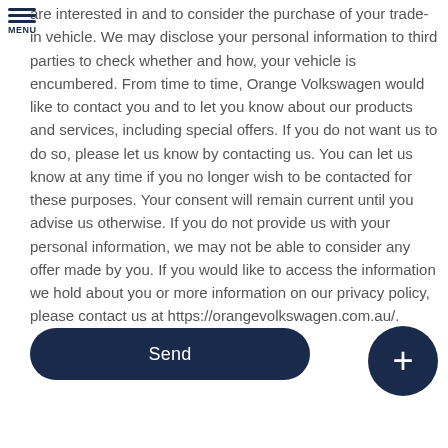MENU
are interested in and to consider the purchase of your trade-in vehicle. We may disclose your personal information to third parties to check whether and how, your vehicle is encumbered. From time to time, Orange Volkswagen would like to contact you and to let you know about our products and services, including special offers. If you do not want us to do so, please let us know by contacting us. You can let us know at any time if you no longer wish to be contacted for these purposes. Your consent will remain current until you advise us otherwise. If you do not provide us with your personal information, we may not be able to consider any offer made by you. If you would like to access the information we hold about you or more information on our privacy policy, please contact us at https://orangevolkswagen.com.au/.
[Figure (other): Send button - dark navy rounded rectangle button with white text 'Send']
[Figure (other): Plus/add button - dark navy circle with white plus sign]